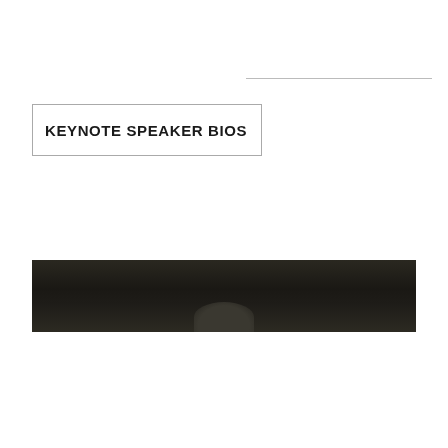KEYNOTE SPEAKER BIOS
[Figure (photo): Dark horizontal photo band showing a partially visible figure or silhouette against a very dark background, likely a cropped portion of a speaker photo]